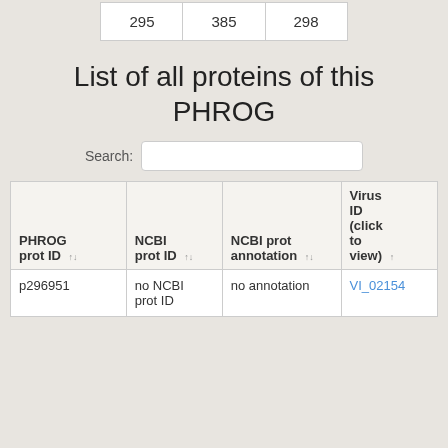| 295 | 385 | 298 |
List of all proteins of this PHROG
| PHROG prot ID | NCBI prot ID | NCBI prot annotation | Virus ID (click to view) |
| --- | --- | --- | --- |
| p296951 | no NCBI prot ID | no annotation | VI_02154 |